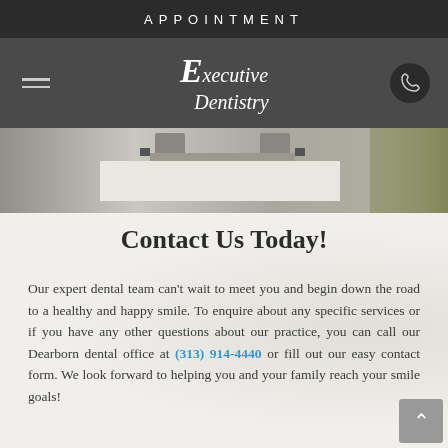APPOINTMENT
[Figure (logo): Executive Dentistry logo with large stylized E on dark gray navigation bar, with hamburger menu on left and phone icon button on right]
[Figure (photo): Photo strip showing what appears to be a white car roof or architectural element with trees in background]
Contact Us Today!
Our expert dental team can't wait to meet you and begin down the road to a healthy and happy smile. To enquire about any specific services or if you have any other questions about our practice, you can call our Dearborn dental office at (313) 914-4440 or fill out our easy contact form. We look forward to helping you and your family reach your smile goals!